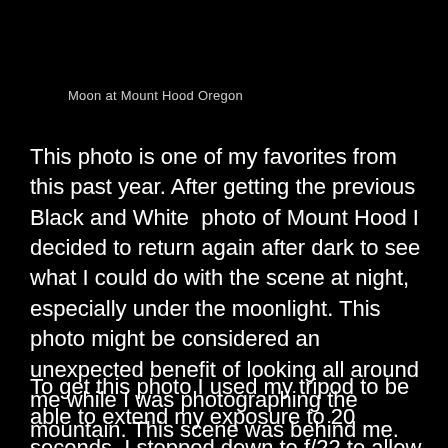Moon at Mount Hood Oregon
This photo is one of my favorites from this past year. After getting the previous Black and White  photo of Mount Hood I decided to return again after dark to see what I could do with the scene at night, especially under the moonlight. This photo might be considered an unexpected benefit of looking all around me while I was photographing the mountain. This scene was behind me.
To get this photo I used my tripod to be able to extend my exposure to 20 seconds. I stopped down to f/22 to allow the light to